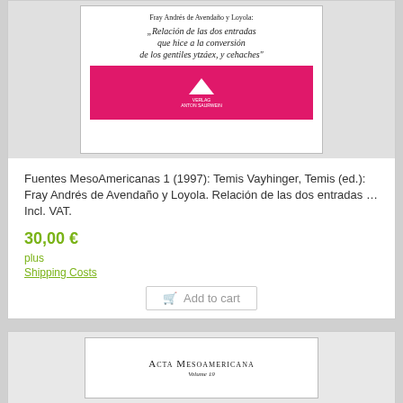[Figure (photo): Book cover of 'Fuentes MesoAmericanas 1' edited by Temis Vayhinger, showing title 'Relación de las dos entradas que hice a la conversión de los gentiles ytzáex, y cehaches' by Fray Andrés de Avendaño y Loyola, with a pink/magenta publisher band at the bottom featuring a white mountain logo.]
Fuentes MesoAmericanas 1 (1997): Temis Vayhinger, Temis (ed.): Fray Andrés de Avendaño y Loyola. Relación de las dos entradas … Incl. VAT.
30,00 €
plus
Shipping Costs
Add to cart
[Figure (photo): Book cover of 'Acta Mesoamericana Volume 19', showing title in small caps serif font on white background.]